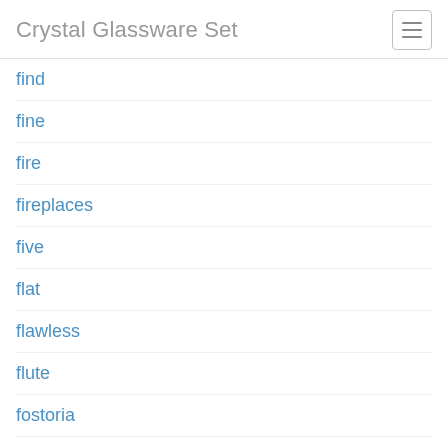Crystal Glassware Set
find
fine
fire
fireplaces
five
flat
flawless
flute
fostoria
found
four
four4